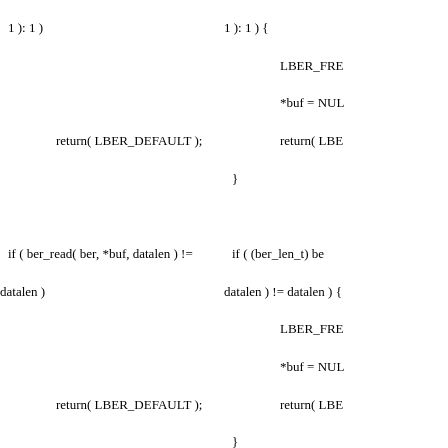Left column code fragment: return( LBER_DEFAULT ); if ( ber_read( ber, *buf, datalen ) != datalen ) return( LBER_DEFAULT ); *blen = datalen * 8 - unusedbits; return( tag ); } unsigned long ber_get_null( BerElement *ber ) { unsigned long len, tag;
Right column code fragment: LBER_FRE *buf = NUL return( LBE } if ( (ber_len_t) be datalen ) != datalen ) { LBER_FRE *buf = NUL return( LBE } *blen = datalen * return( tag ); } ber_tag_t ber_get_null( BerElem { ber_len_t len ber_tag_t tag assert( ber != NU assert( BER_VA